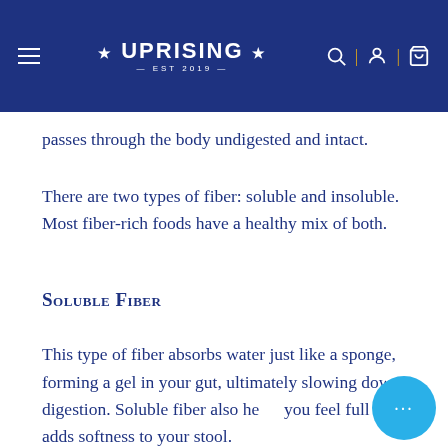UPRISING navigation bar with hamburger menu, logo, search, account, and cart icons
passes through the body undigested and intact.
There are two types of fiber: soluble and insoluble. Most fiber-rich foods have a healthy mix of both.
Soluble Fiber
This type of fiber absorbs water just like a sponge, forming a gel in your gut, ultimately slowing down digestion. Soluble fiber also helps you feel full and adds softness to your stool.